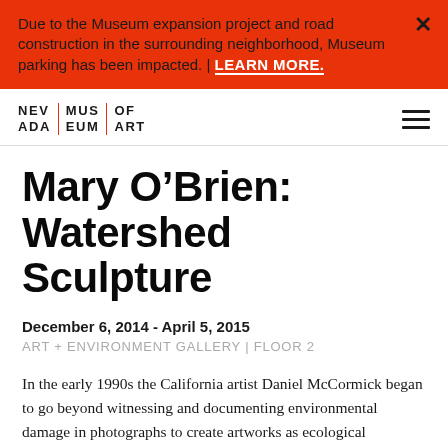Due to the Museum expansion project and road construction in the surrounding neighborhood, Museum parking has been impacted. | LEARN MORE.
[Figure (logo): Nevada Museum of Art logo — two-column block text reading NEV|MUS|OF / ADA|EUM|ART with red vertical dividers]
Mary O’Brien: Watershed Sculpture
December 6, 2014 - April 5, 2015
ART + ENVIRONMENT GALLERY | FLOOR 2
In the early 1990s the California artist Daniel McCormick began to go beyond witnessing and documenting environmental damage in photographs to create artworks as ecological interventions, adding aesthetics to ecological